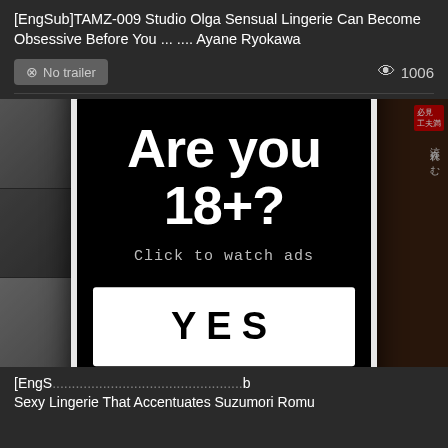[EngSub]TAMZ-009 Studio Olga Sensual Lingerie Can Become Obsessive Before You ... .... Ayane Ryokawa
No trailer   1006
[Figure (screenshot): Content area with blurred adult video thumbnails on left and right sides, with a modal popup overlaid in the center]
Are you 18+?
Click to watch ads
YES
[EngS... Sexy Lingerie That Accentuates Suzumori Romu